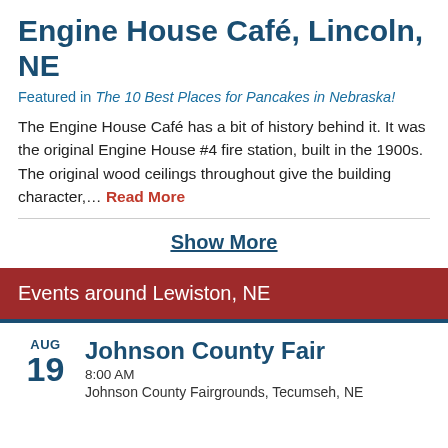Engine House Café, Lincoln, NE
Featured in The 10 Best Places for Pancakes in Nebraska!
The Engine House Café has a bit of history behind it. It was the original Engine House #4 fire station, built in the 1900s. The original wood ceilings throughout give the building character,... Read More
Show More
Events around Lewiston, NE
AUG 19 Johnson County Fair 8:00 AM Johnson County Fairgrounds, Tecumseh, NE